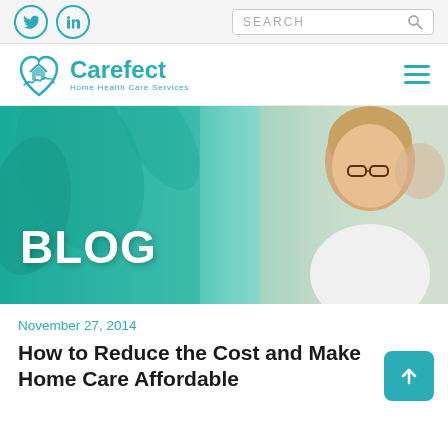[Figure (logo): Twitter bird icon (teal circle outline)]
[Figure (logo): LinkedIn 'in' icon (teal circle outline)]
SEARCH
[Figure (logo): Carefect Home Health Care Services logo with teal heart/house icon]
[Figure (photo): Blog hero banner: elderly woman with glasses smiling, teal gradient overlay on left, large white 'BLOG' text]
November 27, 2014
How to Reduce the Cost and Make Home Care Affordable